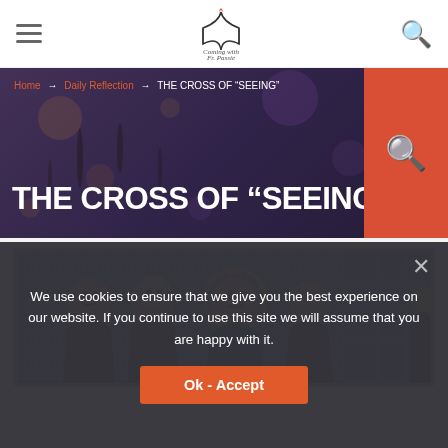Site header with hamburger menu, logo (Coming with Fr. Passie), and search icon
THE CROSS OF “SEEING”
Home → Daily Reflection → THE CROSS OF “SEEING”
[Figure (photo): Ancient Byzantine mosaic showing figures with halos, in gold and blue tones, framed with a gold/yellow border]
We use cookies to ensure that we give you the best experience on our website. If you continue to use this site we will assume that you are happy with it.
Ok - Accept